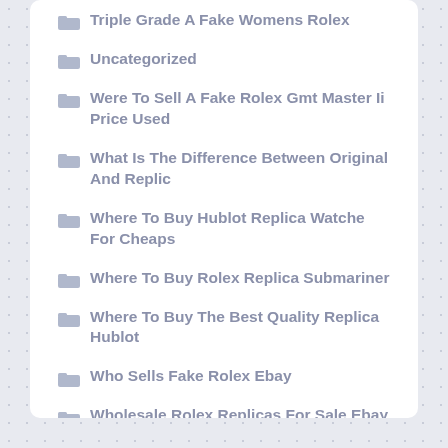Triple Grade A Fake Womens Rolex
Uncategorized
Were To Sell A Fake Rolex Gmt Master Ii Price Used
What Is The Difference Between Original And Replic
Where To Buy Hublot Replica Watche For Cheaps
Where To Buy Rolex Replica Submariner
Where To Buy The Best Quality Replica Hublot
Who Sells Fake Rolex Ebay
Wholesale Rolex Replicas For Sale Ebay